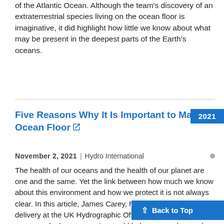of the Atlantic Ocean. Although the team's discovery of an extraterrestrial species living on the ocean floor is imaginative, it did highlight how little we know about what may be present in the deepest parts of the Earth's oceans.
Five Reasons Why It Is Important to Map the Ocean Floor
2021
November 2, 2021 | Hydro International
The health of our oceans and the health of our planet are one and the same. Yet the link between how much we know about this environment and how we protect it is not always clear. In this article, James Carey, head of operational delivery at the UK Hydrographic Office (UKHO), outlines five reasons why better mapping could help us to understand the basics of our ocean ecosystem and help us protect it – and one reason why mapping could compromise our environment.
Back to Top